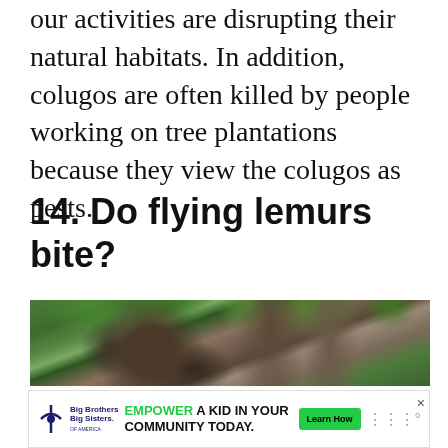our activities are disrupting their natural habitats. In addition, colugos are often killed by people working on tree plantations because they view the colugos as pests.
14. Do flying lemurs bite?
[Figure (photo): A colugo (flying lemur) clinging to a tree trunk among green leaves in a forested environment. The animal blends into the bark texture.]
[Figure (infographic): Advertisement banner: Big Brothers Big Sisters logo on left, text 'EMPOWER A KID IN YOUR COMMUNITY TODAY.' in center with green highlight on EMPOWER, green 'Learn How' button, and close/Webby icon on right.]